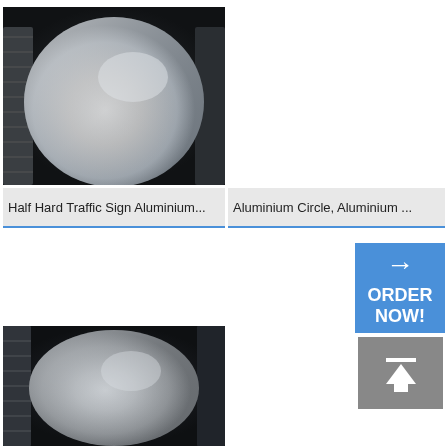[Figure (photo): Aluminium circles/discs stacked, showing shiny circular surface against dark background - top left product]
Half Hard Traffic Sign Aluminium...
Aluminium Circle, Aluminium ...
[Figure (infographic): Blue button with right arrow and text ORDER NOW!]
[Figure (infographic): Grey scroll-to-top button with upward arrow]
[Figure (photo): Aluminium circles/discs stacked, showing shiny circular surface against dark background - bottom left product]